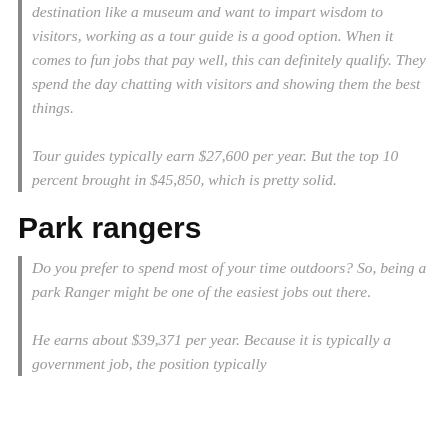destination like a museum and want to impart wisdom to visitors, working as a tour guide is a good option. When it comes to fun jobs that pay well, this can definitely qualify. They spend the day chatting with visitors and showing them the best things.
Tour guides typically earn $27,600 per year. But the top 10 percent brought in $45,850, which is pretty solid.
Park rangers
Do you prefer to spend most of your time outdoors? So, being a park Ranger might be one of the easiest jobs out there.
He earns about $39,371 per year. Because it is typically a government job, the position typically